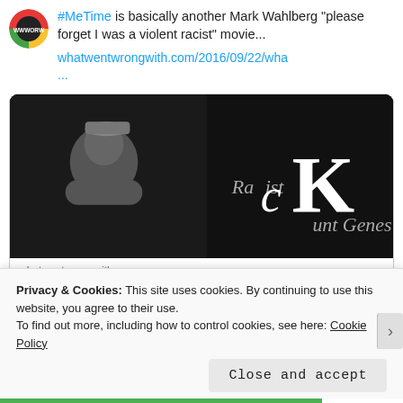[Figure (screenshot): Circular avatar logo for WWWORW - a circular badge with red, yellow, green sections and 'WWWORW' text]
#MeTime is basically another Mark Wahlberg "please forget I was a violent racist" movie... whatwentwrongwith.com/2016/09/22/wha...
[Figure (photo): Black and white photo of Mark Wahlberg shirtless wearing a backwards cap with text overlay reading 'Racist cKunt Genes' styled like Calvin Klein logo]
whatwentwrongwith.com
What Went Wrong With... And What Is Wrong With... Mark Wahlberg and...
Privacy & Cookies: This site uses cookies. By continuing to use this website, you agree to their use.
To find out more, including how to control cookies, see here: Cookie Policy